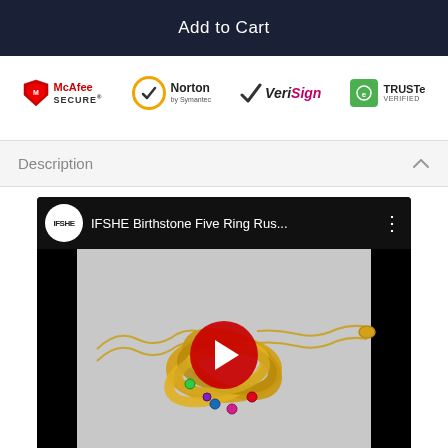Add to Cart
[Figure (logo): Security trust badges row: McAfee SECURE, Norton by Symantec, VeriSign, TRUSTe VERIFIED]
Description
[Figure (screenshot): YouTube video thumbnail showing IFSHE Birthstone Five Ring Rus... with a gold bracelet featuring interlocking rings with birthstones and a YouTube play button overlay. Video channel is IFSHE.]